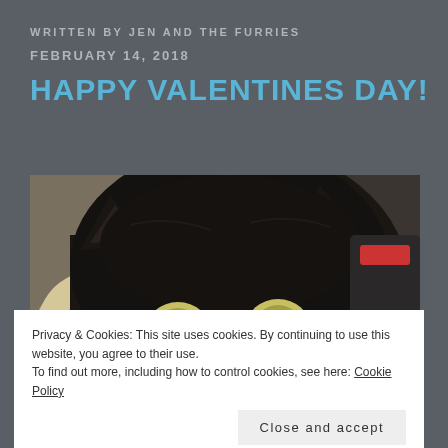WRITTEN BY JEN AND THE FURRIES
FEBRUARY 14, 2018
HAPPY VALENTINES DAY!
[Figure (photo): Close-up photo of a black cat peering over a surface with bright yellow-green eyes, indoor home setting in background]
Privacy & Cookies: This site uses cookies. By continuing to use this website, you agree to their use.
To find out more, including how to control cookies, see here: Cookie Policy
Close and accept